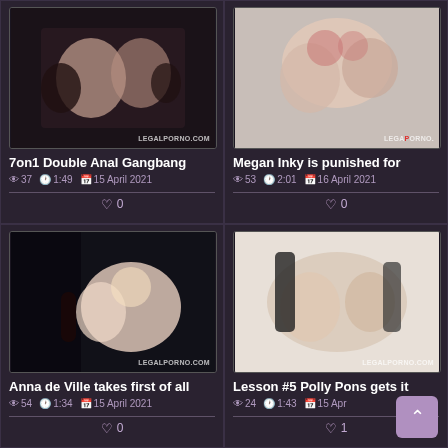[Figure (photo): Thumbnail image for adult video '7on1 Double Anal Gangbang' with LEGALPORNO.COM watermark]
7on1 Double Anal Gangbang
👁 37  🕐 1:49  📅 15 April 2021
♡ 0
[Figure (photo): Thumbnail image for adult video 'Megan Inky is punished for' with LEGALPORNO.COM watermark]
Megan Inky is punished for
👁 53  🕐 2:01  📅 16 April 2021
♡ 0
[Figure (photo): Thumbnail image for adult video 'Anna de Ville takes first of all' with LEGALPORNO.COM watermark]
Anna de Ville takes first of all
👁 54  🕐 1:34  📅 15 April 2021
♡ 0
[Figure (photo): Thumbnail image for adult video 'Lesson #5 Polly Pons gets it' with LEGALPORNO.COM watermark]
Lesson #5 Polly Pons gets it
👁 24  🕐 1:43  📅 15 April 2021
♡ 1